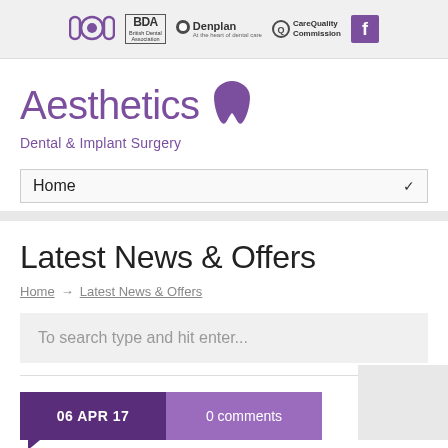[Figure (logo): Header bar with logos: ICOI, BDA (British Dental Association), Denplan, Care Quality Commission, and Facebook icon]
[Figure (logo): Aesthetics Dental & Implant Surgery brand logo with purple tooth icon]
Home
Latest News & Offers
Home → Latest News & Offers
To search type and hit enter...
06 APR 17    0 comments